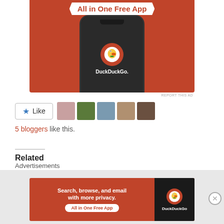[Figure (screenshot): DuckDuckGo 'All in One Free App' advertisement banner showing a smartphone with DuckDuckGo logo on an orange/red background]
REPORT THIS AD
[Figure (screenshot): Like button with blue star icon, followed by 5 avatar thumbnail images of bloggers]
5 bloggers like this.
Related
Easter Weekend 2013, Part Three: Zurich, Switzerland
April 29, 2013
Two If By Train
February 27, 2012
In "International Travel -
Advertisements
[Figure (screenshot): DuckDuckGo 'Search, browse, and email with more privacy. All in One Free App' advertisement banner]